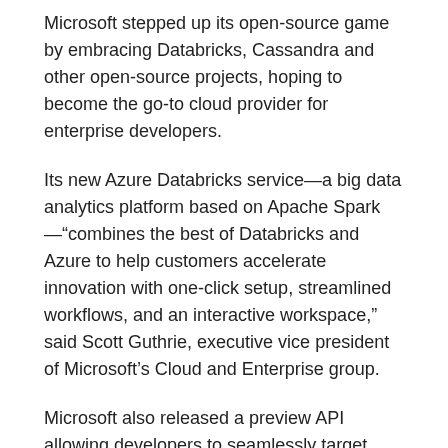Microsoft stepped up its open-source game by embracing Databricks, Cassandra and other open-source projects, hoping to become the go-to cloud provider for enterprise developers.
Its new Azure Databricks service—a big data analytics platform based on Apache Spark—"combines the best of Databricks and Azure to help customers accelerate innovation with one-click setup, streamlined workflows, and an interactive workspace," said Scott Guthrie, executive vice president of Microsoft's Cloud and Enterprise group.
Microsoft also released a preview API allowing developers to seamlessly target Cosmos DB on the Apache Cassandra open-source database management system. The new API will allo[…]se the globally[…]e basis